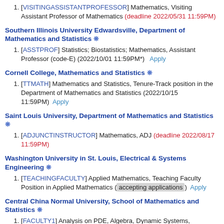[VISITINGASSISTANTPROFESSOR] Mathematics, Visiting Assistant Professor of Mathematics (deadline 2022/05/31 11:59PM)
Southern Illinois University Edwardsville, Department of Mathematics and Statistics ❋
[ASSTPROF] Statistics; Biostatistics; Mathematics, Assistant Professor (code-E) (2022/10/01 11:59PM*)   Apply
Cornell College, Mathematics and Statistics ❋
[TTMATH] Mathematics and Statistics, Tenure-Track position in the Department of Mathematics and Statistics (2022/10/15 11:59PM)   Apply
Saint Louis University, Department of Mathematics and Statistics ❋
[ADJUNCTINSTRUCTOR] Mathematics, ADJ (deadline 2022/08/17 11:59PM)
Washington University in St. Louis, Electrical & Systems Engineering ❋
[TEACHINGFACULTY] Applied Mathematics, Teaching Faculty Position in Applied Mathematics (accepting applications)   Apply
Central China Normal University, School of Mathematics and Statistics ❋
[FACULTY1] Analysis on PDE, Algebra, Dynamic Systems, Geometry,Statistics and Big Data, Assistant Professor/Associate